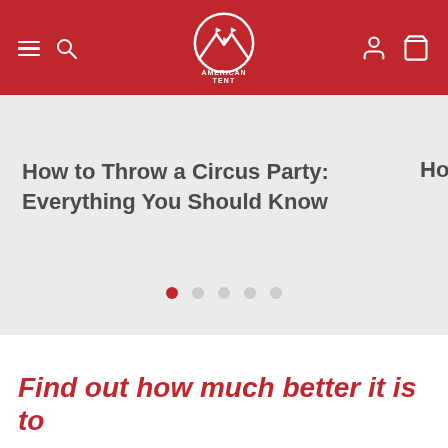American Tent - Navigation header with logo, hamburger menu, search, user, and cart icons
How to Throw a Circus Party: Everything You Should Know
[Figure (other): Carousel pagination dots: 5 dots, first one filled red indicating active slide]
Find out how much better it is to